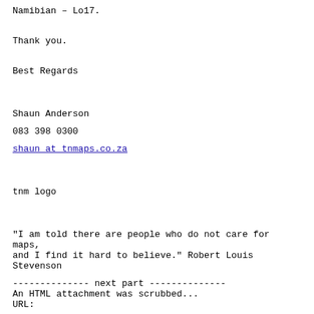Namibian – Lo17.
Thank you.
Best Regards
Shaun Anderson
083 398 0300
shaun at tnmaps.co.za
tnm logo
“I am told there are people who do not care for maps, and I find it hard to believe.” Robert Louis Stevenson
-------------- next part --------------
An HTML attachment was scrubbed...
URL: